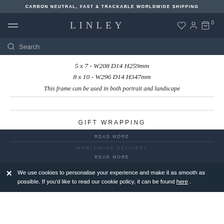CARBON NEUTRAL, FAST & TRACKABLE WORLDWIDE SHIPPING
LINLEY
5 x 7 - W208 D14 H259mm
8 x 10 - W296 D14 H347mm
This frame can be used in both portrait and landscape
GIFT WRAPPING
READ MORE
WORLDWIDE DELIVERY
READ MORE
We use cookies to personalise your experience and make it as smooth as possible. If you'd like to read our cookie policy, it can be found here .